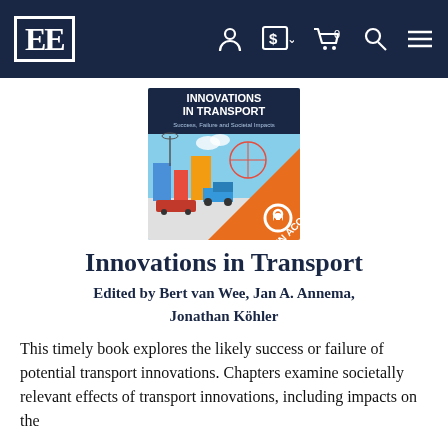EE [logo] — navigation bar with icons
[Figure (illustration): Book cover for 'Innovations in Transport: Success, Failure and Societal Impacts' showing a colorful cityscape with transport icons, an orange triangle in the lower right with 'OPEN ACCESS' text and an open-access lock icon.]
Innovations in Transport
Edited by Bert van Wee, Jan A. Annema, Jonathan Köhler
This timely book explores the likely success or failure of potential transport innovations. Chapters examine societally relevant effects of transport innovations, including impacts on the